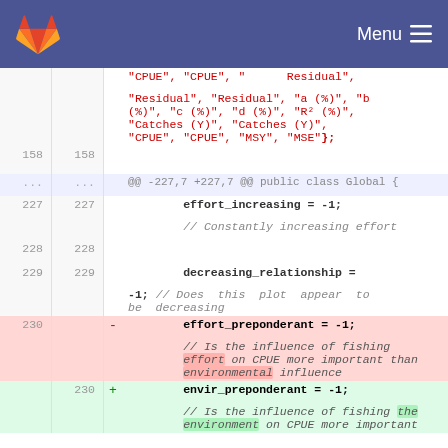GitLab Menu
[Figure (screenshot): GitLab code diff view showing changes to Java source file with line numbers, removed line (effort_preponderant) and added line (envir_preponderant)]